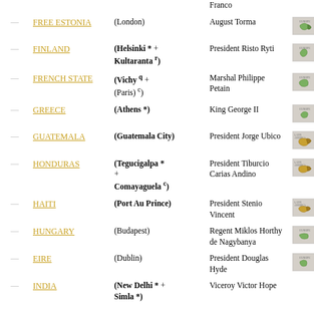|  | Country | Capital | Leader | Flag |
| --- | --- | --- | --- | --- |
| — | FREE ESTONIA | (London) | August Torma | [map] |
| — | FINLAND | (Helsinki * + Kultaranta r) | President Risto Ryti | [map] |
| — | FRENCH STATE | (Vichy q + (Paris) c) | Marshal Philippe Petain | [map] |
| — | GREECE | (Athens *) | King George II | [map] |
| — | GUATEMALA | (Guatemala City) | President Jorge Ubico | [map] |
| — | HONDURAS | (Tegucigalpa * + Comayaguela c) | President Tiburcio Carias Andino | [map] |
| — | HAITI | (Port Au Prince) | President Stenio Vincent | [map] |
| — | HUNGARY | (Budapest) | Regent Miklos Horthy de Nagybanya | [map] |
| — | EIRE | (Dublin) | President Douglas Hyde | [map] |
| — | INDIA | (New Delhi * + Simla *) | Viceroy Victor Hope | [map] |